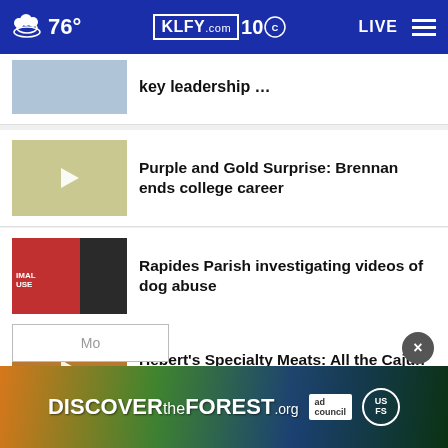76° KLFY.com 10 LIVE
key leadership …
Purple and Gold Surprise: Brennan ends college career
Rapides Parish investigating videos of dog abuse
Hebert's Specialty Meats: All the Cajun traditions
Hunt for suspects in Mermentau home burglary
[Figure (screenshot): DISCOVERtheFOREST.org advertisement banner with colorful floral imagery and forest background, ad council and US Forest Service logos]